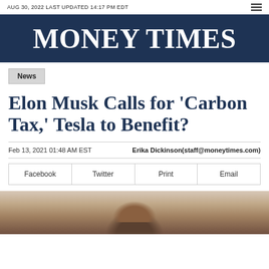AUG 30, 2022 LAST UPDATED 14:17 PM EDT
MONEY TIMES
News
Elon Musk Calls for 'Carbon Tax,' Tesla to Benefit?
Feb 13, 2021 01:48 AM EST    Erika Dickinson(staff@moneytimes.com)
Facebook  Twitter  Print  Email
[Figure (photo): Photo of a person, partially visible, cropped at bottom of page]